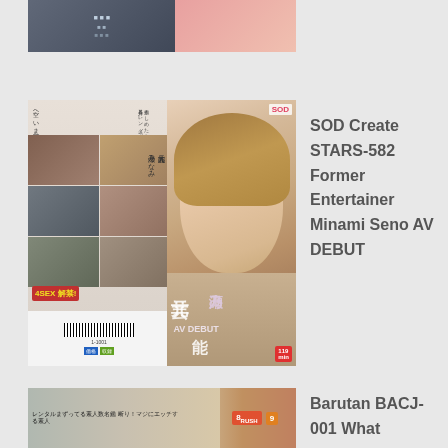[Figure (photo): Partially visible product listing thumbnail at top of page]
[Figure (photo): DVD/Blu-ray cover image for SOD Create STARS-582 featuring Minami Seno]
SOD Create STARS-582 Former Entertainer Minami Seno AV DEBUT
[Figure (photo): Partially visible product listing thumbnail at bottom of page for Barutan BACJ-001]
Barutan BACJ-001 What